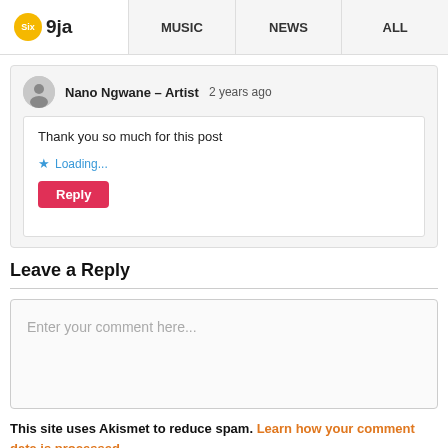Six9ja  MUSIC  NEWS  ALL
Nano Ngwane – Artist   2 years ago
Thank you so much for this post
★ Loading...
Reply
Leave a Reply
Enter your comment here...
This site uses Akismet to reduce spam. Learn how your comment data is processed.